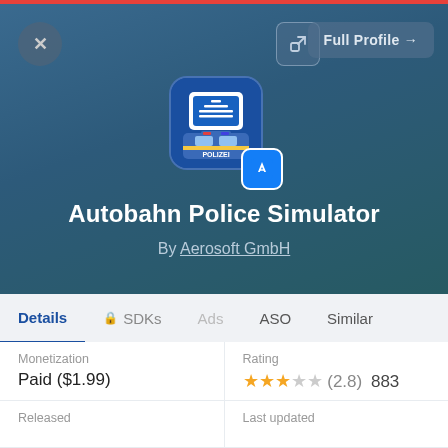[Figure (screenshot): App store profile card UI showing Autobahn Police Simulator app with icon, title, developer name, navigation tabs, and detail fields for monetization and rating]
Autobahn Police Simulator
By Aerosoft GmbH
Details   SDKs   Ads   ASO   Similar
Monetization
Paid ($1.99)
Rating
★★★☆☆ (2.8) 883
Released
Last updated